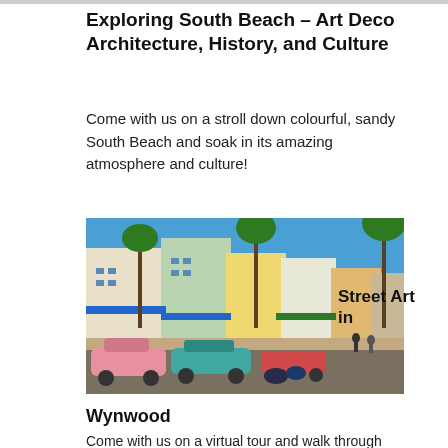Exploring South Beach – Art Deco Architecture, History, and Culture
Come with us on a stroll down colourful, sandy South Beach and soak in its amazing atmosphere and culture!
[Figure (photo): Street view of South Beach Art Deco buildings with classic cars parked in front, palm trees, blue skies, and people on the sidewalk]
Street Art in
Wynwood
Come with us on a virtual tour and walk through